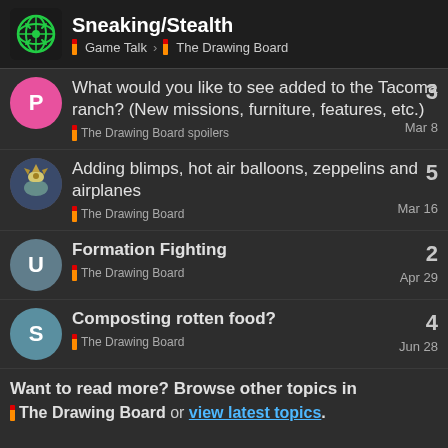Sneaking/Stealth — Game Talk > The Drawing Board
What would you like to see added to the Tacoma ranch? (New missions, furniture, features, etc.) — The Drawing Board spoilers — Mar 8 — 3 replies
Adding blimps, hot air balloons, zeppelins and airplanes — The Drawing Board — Mar 16 — 5 replies
Formation Fighting — The Drawing Board — Apr 29 — 2 replies
Composting rotten food? — The Drawing Board — Jun 28 — 4 replies
Want to read more? Browse other topics in The Drawing Board or view latest topics.